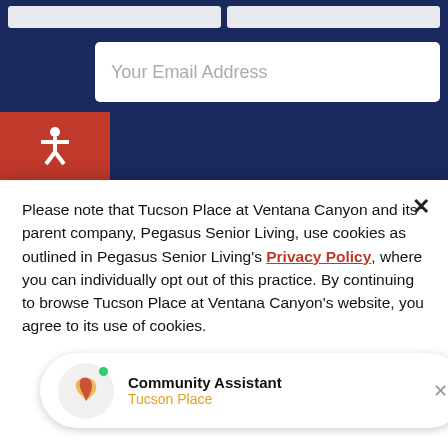[Figure (screenshot): Dark navy website background with email address input field and accessibility icon visible at the top]
Please note that Tucson Place at Ventana Canyon and its parent company, Pegasus Senior Living, use cookies as outlined in Pegasus Senior Living's Privacy Policy, where you can individually opt out of this practice. By continuing to browse Tucson Place at Ventana Canyon's website, you agree to its use of cookies.
Accept
Community Assistant
Tucson Place
Home